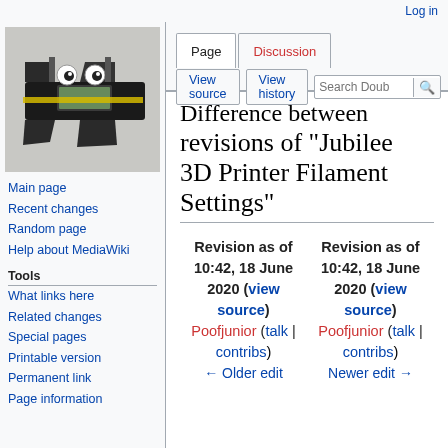Log in
[Figure (photo): Photo of a digital caliper holding a small piece with googly eyes attached, resembling a duck face]
Main page
Recent changes
Random page
Help about MediaWiki
Tools
What links here
Related changes
Special pages
Printable version
Permanent link
Page information
Difference between revisions of "Jubilee 3D Printer Filament Settings"
| Revision as of 10:42, 18 June 2020 (view source) | Revision as of 10:42, 18 June 2020 (view source) |
| --- | --- |
| Poofjunior (talk | contribs) | Poofjunior (talk | contribs) |
| ← Older edit | Newer edit → |